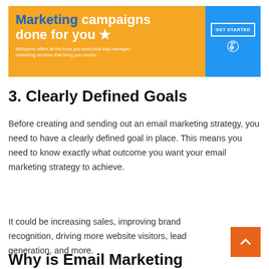[Figure (infographic): Orange and blue banner advertisement for Wishpond marketing services. Orange section contains bold white text 'Marketing campaigns done for you ★' with subtitle 'Wishpond offers all the tools you need plus fully managed marketing services that bring you results.' Blue section on the right contains a 'GET STARTED' button with cursor icon.]
3. Clearly Defined Goals
Before creating and sending out an email marketing strategy, you need to have a clearly defined goal in place. This means you need to know exactly what outcome you want your email marketing strategy to achieve.
It could be increasing sales, improving brand recognition, driving more website visitors, lead generation, and more.
Why is Email Marketing